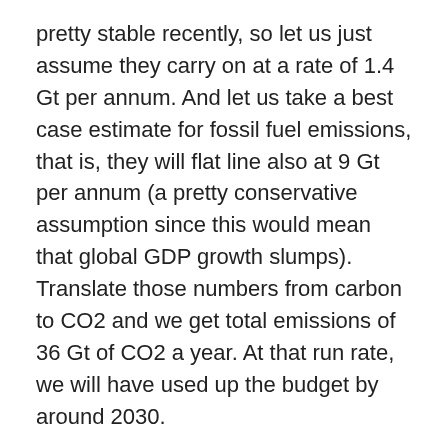pretty stable recently, so let us just assume they carry on at a rate of 1.4 Gt per annum. And let us take a best case estimate for fossil fuel emissions, that is, they will flat line also at 9 Gt per annum (a pretty conservative assumption since this would mean that global GDP growth slumps). Translate those numbers from carbon to CO2 and we get total emissions of 36 Gt of CO2 a year. At that run rate, we will have used up the budget by around 2030.
At this point, and after some very simple math, I hope you will get a sense of the risk. To me, it looks extremely unlikely that the world will come off fossil fuels at the rate required over the next two decades. Therefore, there is a high risk that the world will push through the 450 CO2-eq barrier, and global mean temperature will move 2 degrees above pre-indusrial revolution levels. As such climate